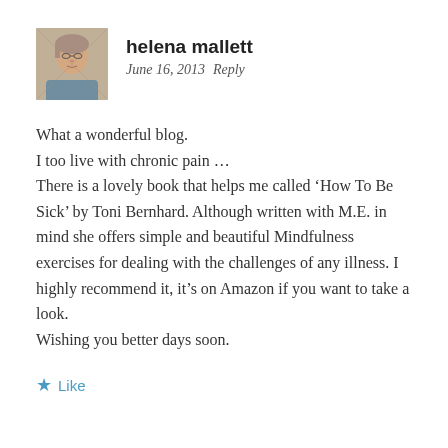[Figure (photo): Profile photo of helena mallett, a woman with glasses and light hair]
helena mallett
June 16, 2013   Reply
What a wonderful blog.
I too live with chronic pain …
There is a lovely book that helps me called ‘How To Be Sick’ by Toni Bernhard. Although written with M.E. in mind she offers simple and beautiful Mindfulness exercises for dealing with the challenges of any illness. I highly recommend it, it’s on Amazon if you want to take a look.
Wishing you better days soon.
Like